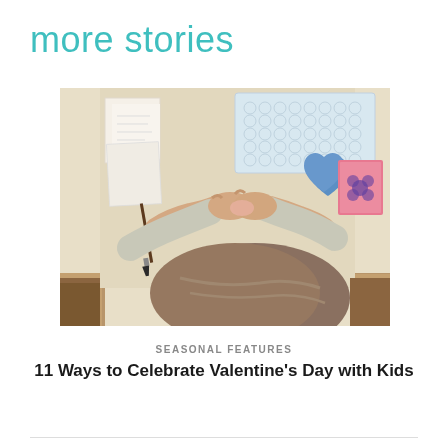more stories
[Figure (photo): Overhead view of a child working at a wooden desk with craft materials including bubble wrap, sticky notes, blue and pink heart-shaped items, and a paintbrush]
SEASONAL FEATURES
11 Ways to Celebrate Valentine's Day with Kids